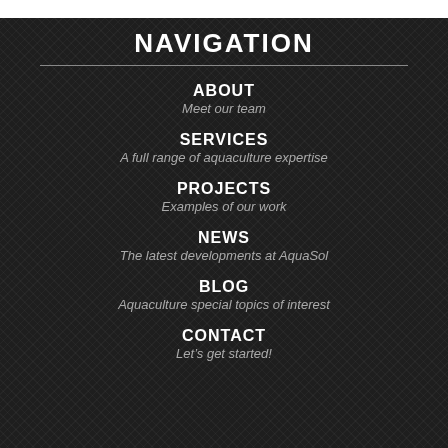NAVIGATION
ABOUT
Meet our team
SERVICES
A full range of aquaculture expertise
PROJECTS
Examples of our work
NEWS
The latest developments at AquaSol
BLOG
Aquaculture special topics of interest
CONTACT
Let’s get started!